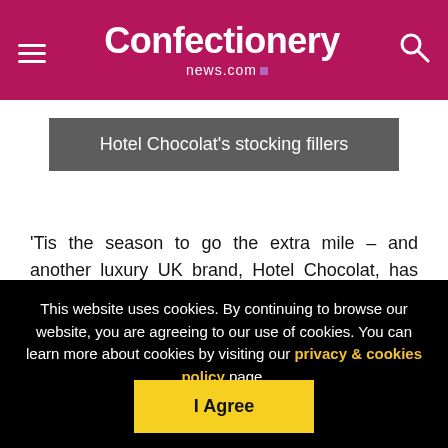Confectionery news.com
Hotel Chocolat's stocking fillers
'Tis the season to go the extra mile – and another luxury UK brand, Hotel Chocolat, has something for every indulgent moment. As well as advent calendars for all the family, Hotel Chocolat's seasonal offerings include a Classic Christmas H-box (£12.95) featuring 15 festive and favourite truffles, caramels, pralines and more.
This website uses cookies. By continuing to browse our website, you are agreeing to our use of cookies. You can learn more about cookies by visiting our privacy & cookies policy page.
I Agree